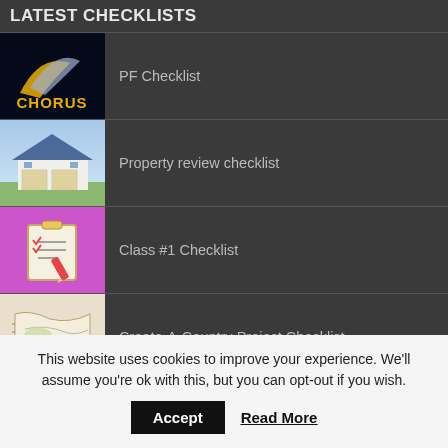LATEST CHECKLISTS
PF Checklist
Property review checklist
Class #1 Checklist
Create-A-Country Project Checklist
This website uses cookies to improve your experience. We'll assume you're ok with this, but you can opt-out if you wish.
Accept
Read More